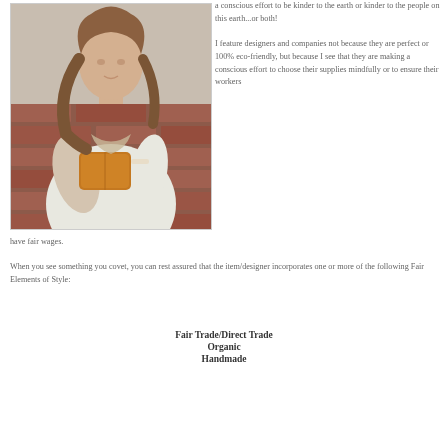[Figure (photo): Woman with long hair in white shirt holding a brown leather clutch bag against a stone/brick wall background]
a conscious effort to be kinder to the earth or kinder to the people on this earth...or both!
I feature designers and companies not because they are perfect or 100% eco-friendly, but because I see that they are making a conscious effort to choose their supplies mindfully or to ensure their workers have fair wages.
When you see something you covet, you can rest assured that the item/designer incorporates one or more of the following Fair Elements of Style:
Fair Trade/Direct Trade
Organic
Handmade